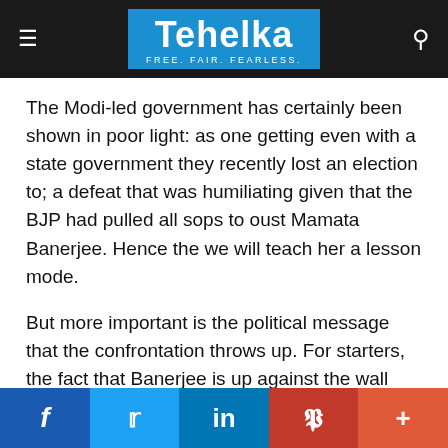Tehelka — FREE. FAIR. FEARLESS.
The Modi-led government has certainly been shown in poor light: as one getting even with a state government they recently lost an election to; a defeat that was humiliating given that the BJP had pulled all sops to oust Mamata Banerjee. Hence the we will teach her a lesson mode.
But more important is the political message that the confrontation throws up. For starters, the fact that Banerjee is up against the wall automatically makes her a victim who continues to fight an already won battle. Two, it shows up the BJP's vengeance streak which also signals non BJP ruled governments to fall in line. Whether they will or choose to
Facebook | Twitter | LinkedIn | Pinterest | More